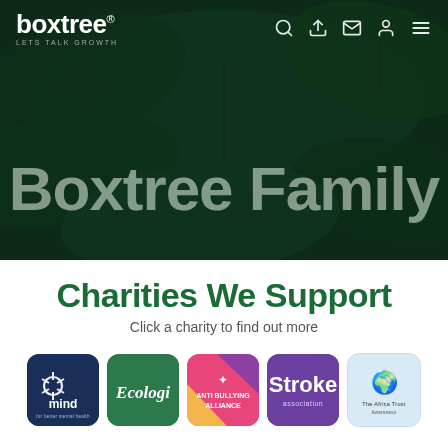[Figure (screenshot): Hero banner with dark green leaf background and 'Boxtree Family' text overlay, with Boxtree navigation bar at top]
Charities We Support
Click a charity to find out more
[Figure (illustration): Row of five charity logos: Mind, Ecologi, Anti Bullying Alliance, Stroke Association, The Africa Trust]